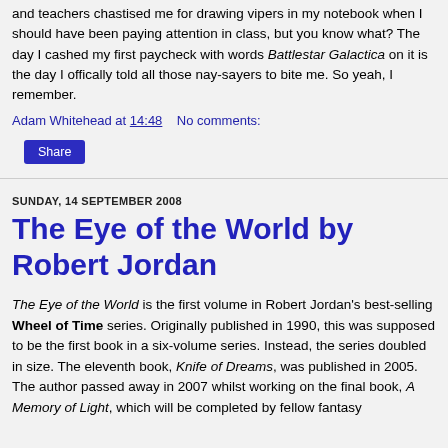and teachers chastised me for drawing vipers in my notebook when I should have been paying attention in class, but you know what? The day I cashed my first paycheck with words Battlestar Galactica on it is the day I offically told all those nay-sayers to bite me. So yeah, I remember.
Adam Whitehead at 14:48   No comments:
Share
SUNDAY, 14 SEPTEMBER 2008
The Eye of the World by Robert Jordan
The Eye of the World is the first volume in Robert Jordan's best-selling Wheel of Time series. Originally published in 1990, this was supposed to be the first book in a six-volume series. Instead, the series doubled in size. The eleventh book, Knife of Dreams, was published in 2005. The author passed away in 2007 whilst working on the final book, A Memory of Light, which will be completed by fellow fantasy